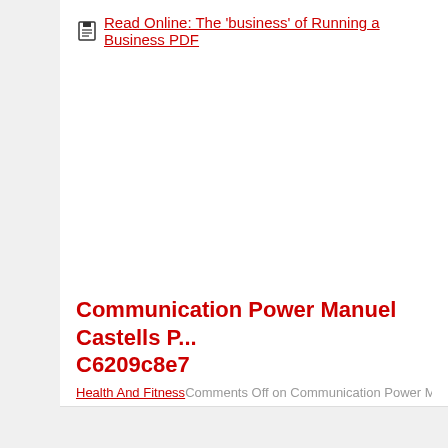Read Online: The 'business' of Running a Business PDF
Permalink
Communication Power Manuel Castells P... C6209c8e7
Health And Fitness
Comments Off on Communication Power Manuel Cas...
[Figure (photo): Group of elderly women sitting outdoors in a park doing stretching exercises]